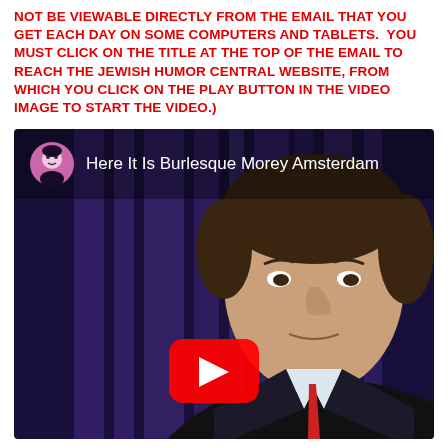NOT BE VIEWABLE DIRECTLY FROM THE EMAIL THAT YOU GET EACH DAY ON SOME COMPUTERS AND TABLETS. YOU MUST CLICK ON THE TITLE AT THE TOP OF THE EMAIL TO REACH THE JEWISH HUMOR CENTRAL WEBSITE, FROM WHICH YOU CLICK ON THE PLAY BUTTON IN THE VIDEO IMAGE TO START THE VIDEO.)
[Figure (screenshot): YouTube video thumbnail showing 'Here It Is Burlesque Morey Amsterdam' with a channel icon on the top left, video title text, a man's face against a purple background, and a red YouTube play button in the lower center.]